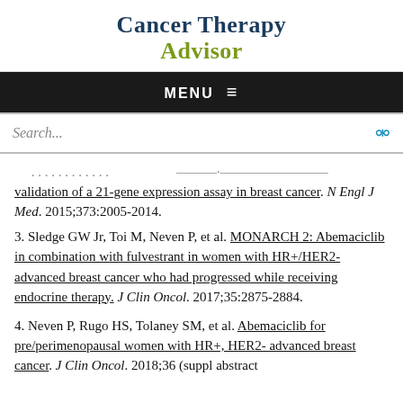Cancer Therapy Advisor
MENU
Search...
validation of a 21-gene expression assay in breast cancer. N Engl J Med. 2015;373:2005-2014.
3. Sledge GW Jr, Toi M, Neven P, et al. MONARCH 2: Abemaciclib in combination with fulvestrant in women with HR+/HER2- advanced breast cancer who had progressed while receiving endocrine therapy. J Clin Oncol. 2017;35:2875-2884.
4. Neven P, Rugo HS, Tolaney SM, et al. Abemaciclib for pre/perimenopausal women with HR+, HER2- advanced breast cancer. J Clin Oncol. 2018;36 (suppl abstract 1000).